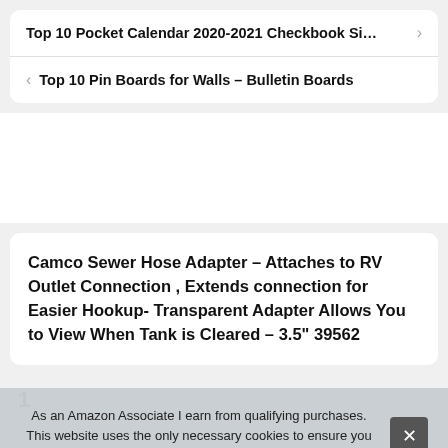Top 10 Pocket Calendar 2020-2021 Checkbook Si… >
< Top 10 Pin Boards for Walls – Bulletin Boards
Camco Sewer Hose Adapter – Attaches to RV Outlet Connection , Extends connection for Easier Hookup- Transparent Adapter Allows You to View When Tank is Cleared – 3.5" 39562
1
N
Set
As an Amazon Associate I earn from qualifying purchases. This website uses the only necessary cookies to ensure you get the best experience on our website. More information